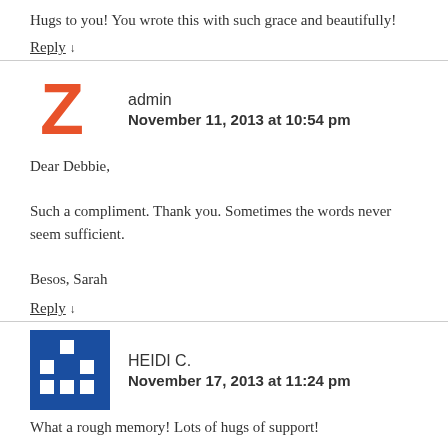Hugs to you! You wrote this with such grace and beautifully!
Reply ↓
admin
November 11, 2013 at 10:54 pm
Dear Debbie,

Such a compliment. Thank you. Sometimes the words never seem sufficient.

Besos, Sarah
Reply ↓
HEIDI C.
November 17, 2013 at 11:24 pm
What a rough memory! Lots of hugs of support!
Reply ↓
MrDisco
December 17, 2013 at 8:37 pm
thank you for sharing